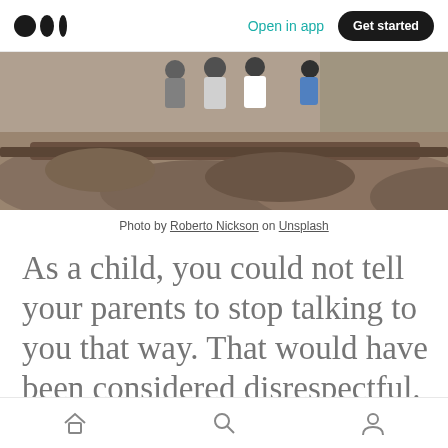Open in app | Get started
[Figure (photo): Outdoor photo of people sitting on rocks/logs, seen from below, rocky terrain visible]
Photo by Roberto Nickson on Unsplash
As a child, you could not tell your parents to stop talking to you that way. That would have been considered disrespectful. As an adult, you
Home | Search | Profile